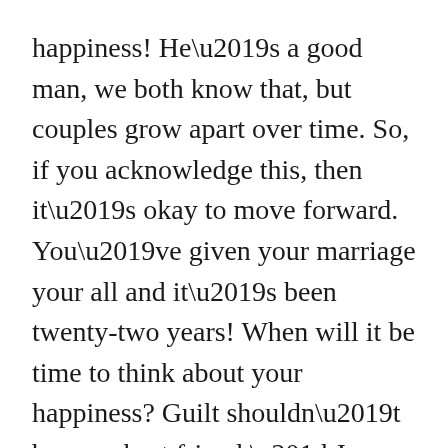happiness! He’s a good man, we both know that, but couples grow apart over time. So, if you acknowledge this, then it’s okay to move forward. You’ve given your marriage your all and it’s been twenty-two years! When will it be time to think about your happiness? Guilt shouldn’t be your best friend.” Jane sighed, hoping beyond hope that she didn’t say anything she’ll regret. All she heard was silence. “Kate, are you okay? Are you there?”
“Hmm…I’m here, just thinking over your words. You’re right; it’s just that taking that step feels like walking in sinking sand. It’ll